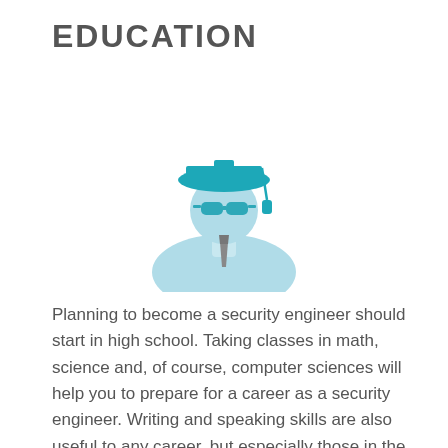EDUCATION
[Figure (illustration): Icon of a graduate student wearing a teal mortarboard cap and sunglasses, with a light blue suit silhouette]
Planning to become a security engineer should start in high school. Taking classes in math, science and, of course, computer sciences will help you to prepare for a career as a security engineer. Writing and speaking skills are also useful to any career, but especially those in the sciences where you will need to present your ideas to potential employers or clients. A background with accounting and marketing is important for those pursuing a consultant or